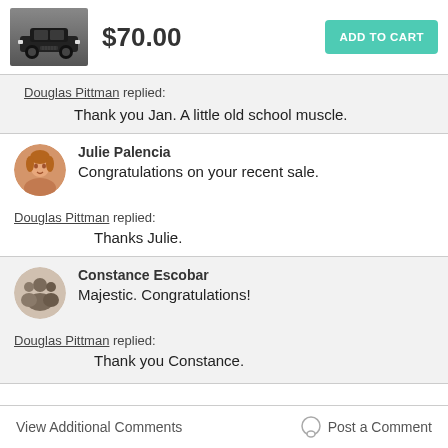[Figure (other): Product listing showing a dark classic muscle car image, price $70.00, and a teal Add to Cart button]
Douglas Pittman replied: Thank you Jan. A little old school muscle.
Julie Palencia
Congratulations on your recent sale.
Douglas Pittman replied:
Thanks Julie.
Constance Escobar
Majestic. Congratulations!
Douglas Pittman replied:
Thank you Constance.
View Additional Comments
Post a Comment